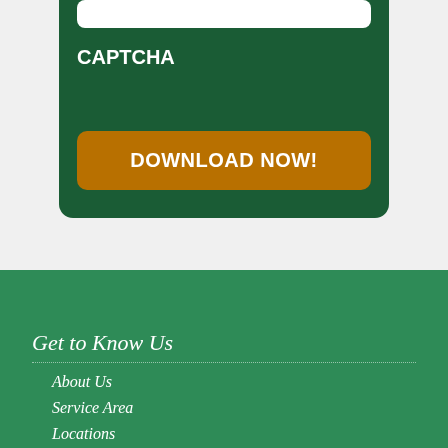CAPTCHA
[Figure (screenshot): Green card UI with CAPTCHA label and Download Now button]
Get to Know Us
About Us
Service Area
Locations